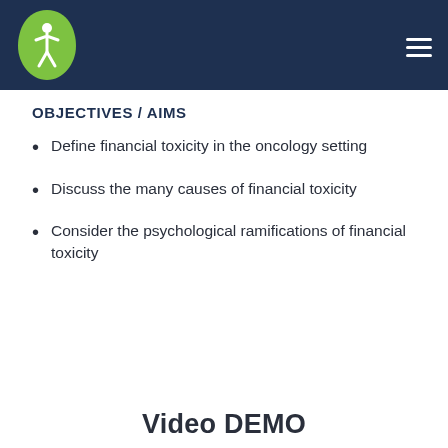OBJECTIVES / AIMS
Define financial toxicity in the oncology setting
Discuss the many causes of financial toxicity
Consider the psychological ramifications of financial toxicity
Video DEMO